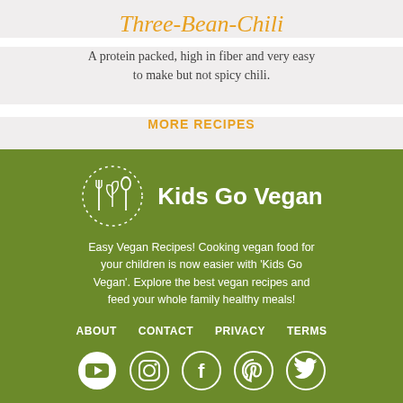Three-Bean-Chili
A protein packed, high in fiber and very easy to make but not spicy chili.
MORE RECIPES
[Figure (logo): Kids Go Vegan logo with fork, leaf/plant, and spoon icons inside a dotted circle, white on green background, with text 'Kids Go Vegan']
Easy Vegan Recipes! Cooking vegan food for your children is now easier with 'Kids Go Vegan'. Explore the best vegan recipes and feed your whole family healthy meals!
ABOUT
CONTACT
PRIVACY
TERMS
[Figure (illustration): Social media icons in white circles: YouTube, Instagram, Facebook, Pinterest, Twitter]
Copyright 2020 Kids Go Vegan, All Rights Reserved.